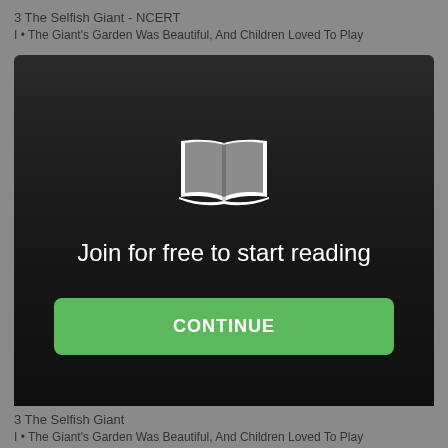3 The Selfish Giant - NCERT
I • The Giant's Garden Was Beautiful, And Children Loved To Play
[Figure (screenshot): A dark modal overlay with a white open book icon, the text 'Join for free to start reading', and a green 'CONTINUE' button. Background fades from dark grey to near-black.]
3 The Selfish Giant
I • The Giant's Garden Was Beautiful, And Children Loved To Play